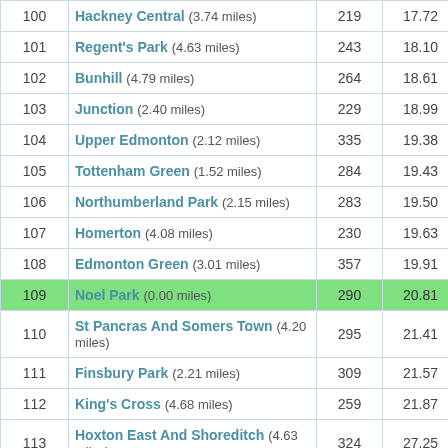| # | Location |  |  |
| --- | --- | --- | --- |
| 100 | Hackney Central (3.74 miles) | 219 | 17.72 |
| 101 | Regent's Park (4.63 miles) | 243 | 18.10 |
| 102 | Bunhill (4.79 miles) | 264 | 18.61 |
| 103 | Junction (2.40 miles) | 229 | 18.99 |
| 104 | Upper Edmonton (2.12 miles) | 335 | 19.38 |
| 105 | Tottenham Green (1.52 miles) | 284 | 19.43 |
| 106 | Northumberland Park (2.15 miles) | 283 | 19.50 |
| 107 | Homerton (4.08 miles) | 230 | 19.63 |
| 108 | Edmonton Green (3.01 miles) | 357 | 19.91 |
| 109 | Noel Park (0.00 miles) | 290 | 20.81 |
| 110 | St Pancras And Somers Town (4.20 miles) | 295 | 21.41 |
| 111 | Finsbury Park (2.21 miles) | 309 | 21.57 |
| 112 | King's Cross (4.68 miles) | 259 | 21.87 |
| 113 | Hoxton East And Shoreditch (4.63 miles) | 324 | 27.25 |
| 114 | Dalston (3.56 miles) | 221 | 28.85 |
| 115 | Camden Town With Primrose Hill (4.10 miles) | 458 | 36.32 |